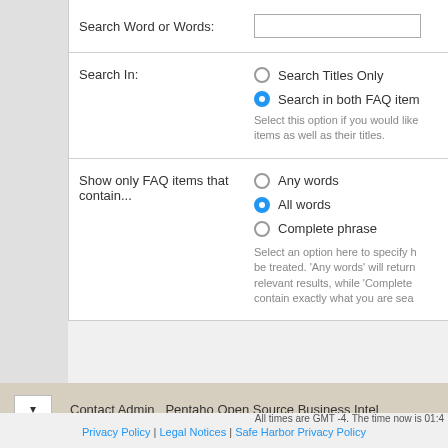Search Word or Words:
Search In:
Search Titles Only
Search in both FAQ item
Select this option if you would like items as well as their titles.
Show only FAQ items that contain...
Any words
All words
Complete phrase
Select an option here to specify how be treated. 'Any words' will return relevant results, while 'Complete contain exactly what you are sea
Contact Admin   Pentaho Open Source Business Intel
All times are GMT -4. The time now is 01:4
Privacy Policy | Legal Notices | Safe Harbor Privacy Policy